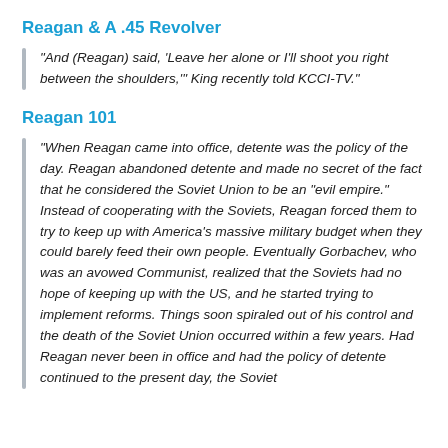Reagan & A .45 Revolver
“And (Reagan) said, ‘Leave her alone or I’ll shoot you right between the shoulders,’” King recently told KCCI-TV.”
Reagan 101
“When Reagan came into office, detente was the policy of the day. Reagan abandoned detente and made no secret of the fact that he considered the Soviet Union to be an “evil empire.” Instead of cooperating with the Soviets, Reagan forced them to try to keep up with America’s massive military budget when they could barely feed their own people. Eventually Gorbachev, who was an avowed Communist, realized that the Soviets had no hope of keeping up with the US, and he started trying to implement reforms. Things soon spiraled out of his control and the death of the Soviet Union occurred within a few years. Had Reagan never been in office and had the policy of detente continued to the present day, the Soviet